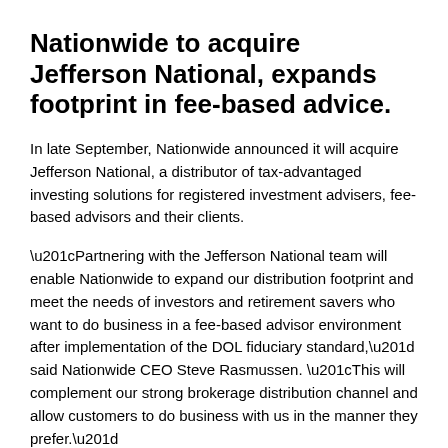Nationwide to acquire Jefferson National, expands footprint in fee-based advice.
In late September, Nationwide announced it will acquire Jefferson National, a distributor of tax-advantaged investing solutions for registered investment advisers, fee-based advisors and their clients.
“Partnering with the Jefferson National team will enable Nationwide to expand our distribution footprint and meet the needs of investors and retirement savers who want to do business in a fee-based advisor environment after implementation of the DOL fiduciary standard,” said Nationwide CEO Steve Rasmussen. “This will complement our strong brokerage distribution channel and allow customers to do business with us in the manner they prefer.”
State Farm cuts agents from mutual